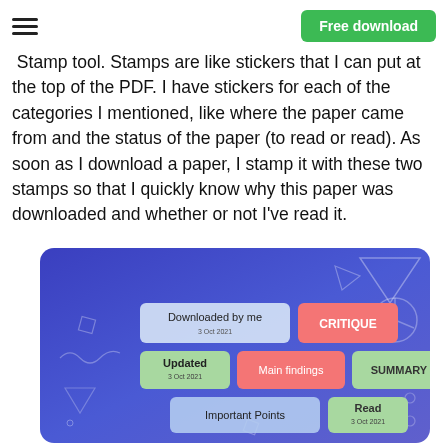Free download
Stamp tool. Stamps are like stickers that I can put at the top of the PDF. I have stickers for each of the categories I mentioned, like where the paper came from and the status of the paper (to read or read). As soon as I download a paper, I stamp it with these two stamps so that I quickly know why this paper was downloaded and whether or not I've read it.
[Figure (screenshot): Screenshot of a PDF tool showing stamp/sticker categories on a blue gradient background: 'Downloaded by me 3 Oct 2021', 'CRITIQUE' (red), 'Updated 3 Oct 2021' (green), 'Main findings' (red), 'SUMMARY' (green), 'Important Points' (light blue), 'Read 3 Oct 2021' (green). Decorative geometric shapes visible in background.]